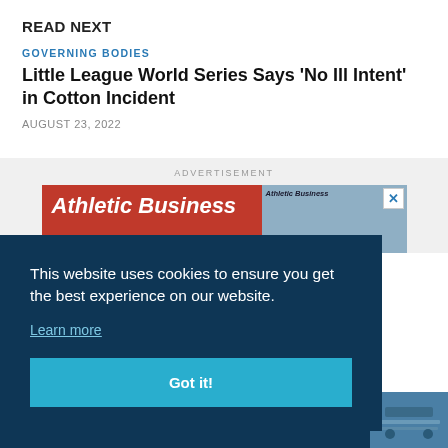READ NEXT
GOVERNING BODIES
Little League World Series Says 'No Ill Intent' in Cotton Incident
AUGUST 23, 2022
ADVERTISEMENT
[Figure (photo): Athletic Business advertisement banner with red background and magazine cover]
This website uses cookies to ensure you get the best experience on our website.
Learn more
Got it!
Little League World Series Says 'No